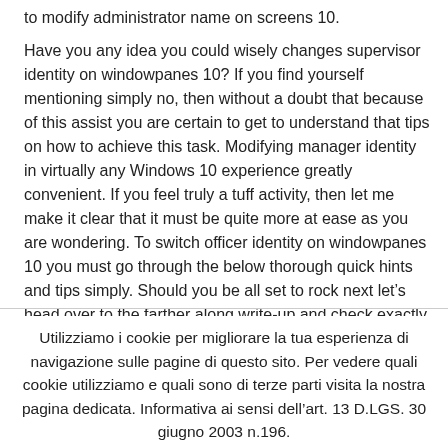to modify administrator name on screens 10.
Have you any idea you could wisely changes supervisor identity on windowpanes 10? If you find yourself mentioning simply no, then without a doubt that because of this assist you are certain to get to understand that tips on how to achieve this task. Modifying manager identity in virtually any Windows 10 experience greatly convenient. If you feel truly a tuff activity, then let me make it clear that it must be quite more at ease as you are wondering. To switch officer identity on windowpanes 10 you must go through the below thorough quick hints and tips simply. Should you be all set to rock next let’s head over to the farther along write-up and check exactly how we does extremely.
Utilizziamo i cookie per migliorare la tua esperienza di navigazione sulle pagine di questo sito. Per vedere quali cookie utilizziamo e quali sono di terze parti visita la nostra pagina dedicata. Informativa ai sensi dell’art. 13 D.LGS. 30 giugno 2003 n.196. Accetta maggiori informazioni